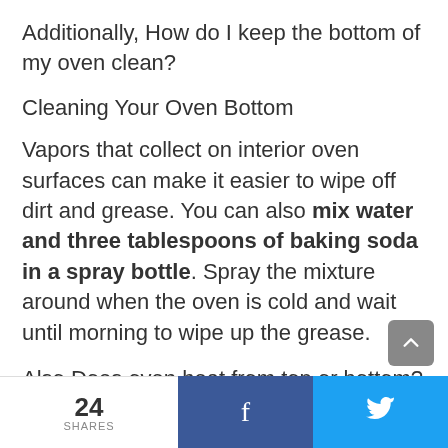Additionally, How do I keep the bottom of my oven clean?
Cleaning Your Oven Bottom
Vapors that collect on interior oven surfaces can make it easier to wipe off dirt and grease. You can also mix water and three tablespoons of baking soda in a spray bottle. Spray the mixture around when the oven is cold and wait until morning to wipe up the grease.
Also Does oven heat from top or bottom?
24 SHARES  f  🐦